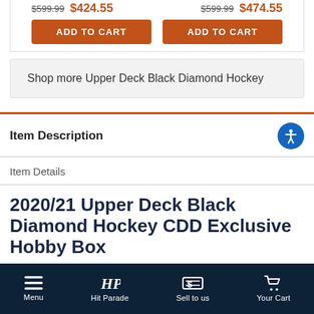$599.99  $424.55  |  $599.99  $474.55
ADD TO CART  |  ADD TO CART
Shop more Upper Deck Black Diamond Hockey
Item Description
Item Details
2020/21 Upper Deck Black Diamond Hockey CDD Exclusive Hobby Box
Menu  Hit Parade  Sell to us  Your Cart